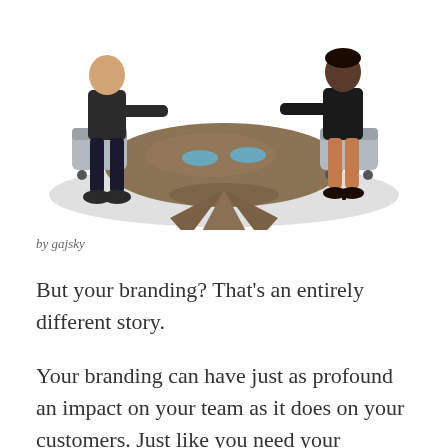[Figure (illustration): Illustration of people sitting around a round conference table, seen from a side/top angle. Two figures visible on left and right sides of the table.]
by gajsky
But your branding? That’s an entirely different story.
Your branding can have just as profound an impact on your team as it does on your customers. Just like you need your customers to believe in your brand in order to do business with you, so do your employees. When you build a brand that your team truly believes in, they’re going to be more…